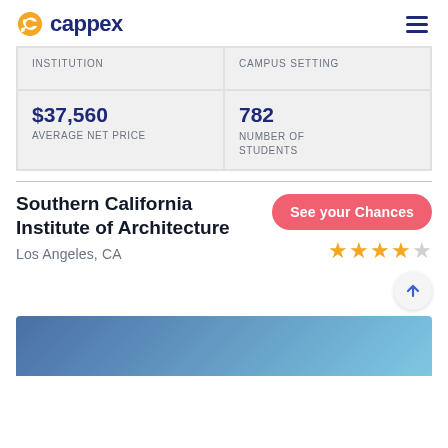cappex
| INSTITUTION | CAMPUS SETTING |
| --- | --- |
| $37,560
AVERAGE NET PRICE | 782
NUMBER OF STUDENTS |
Southern California Institute of Architecture
Los Angeles, CA
See your Chances
[Figure (other): 4 out of 5 star rating displayed in orange stars]
[Figure (photo): Blue gradient banner image at bottom of page]